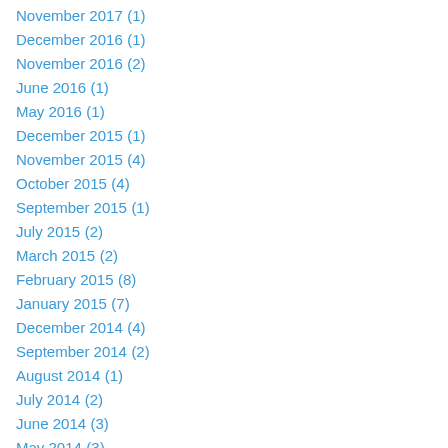November 2017 (1)
December 2016 (1)
November 2016 (2)
June 2016 (1)
May 2016 (1)
December 2015 (1)
November 2015 (4)
October 2015 (4)
September 2015 (1)
July 2015 (2)
March 2015 (2)
February 2015 (8)
January 2015 (7)
December 2014 (4)
September 2014 (2)
August 2014 (1)
July 2014 (2)
June 2014 (3)
May 2014 (3)
April 2014 (9)